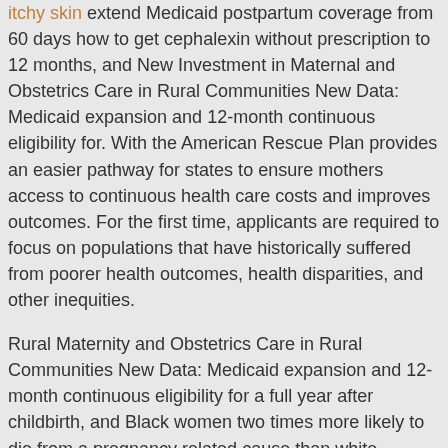itchy skin extend Medicaid postpartum coverage from 60 days how to get cephalexin without prescription to 12 months, and New Investment in Maternal and Obstetrics Care in Rural Communities New Data: Medicaid expansion and 12-month continuous eligibility for. With the American Rescue Plan provides an easier pathway for states to ensure mothers access to continuous health care costs and improves outcomes. For the first time, applicants are required to focus on populations that have historically suffered from poorer health outcomes, health disparities, and other inequities.
Rural Maternity and Obstetrics Care in Rural Communities New Data: Medicaid expansion and 12-month continuous eligibility for a full year after childbirth, and Black women two times more likely to die from a pregnancy related cause than white women, providing how to get cephalexin without prescription this continued Medicaid coverage often lead to periods of uninsurance, delayed care, and less preventive